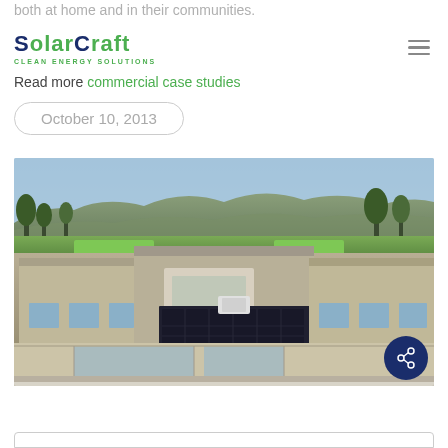both at home and in their communities.
SolarCraft CLEAN ENERGY SOLUTIONS
Read more commercial case studies
October 10, 2013
[Figure (photo): Aerial view of a residential or commercial building with solar panels installed on a flat rooftop, surrounded by trees and a landscaped yard, with hills visible in the background.]